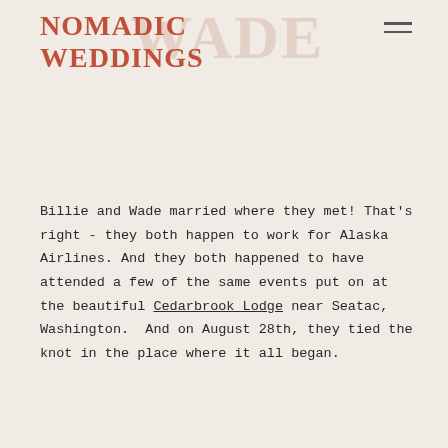NOMADIC WEDDINGS WADE
Billie and Wade married where they met! That's right - they both happen to work for Alaska Airlines. And they both happened to have attended a few of the same events put on at the beautiful Cedarbrook Lodge near Seatac, Washington.  And on August 28th, they tied the knot in the place where it all began.